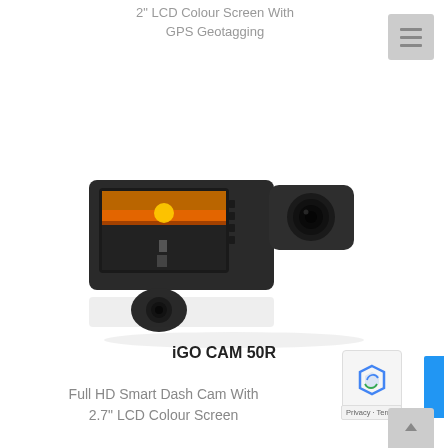2" LCD Colour Screen With GPS Geotagging
[Figure (photo): Product photo of iGO CAM 50R dash cam showing main unit with display screen showing a sunset road scene, a camera lens unit, and a small rear camera module. Dark gray/black color. Reflection visible below the units on white background.]
iGO CAM 50R
Full HD Smart Dash Cam With 2.7" LCD Colour Screen